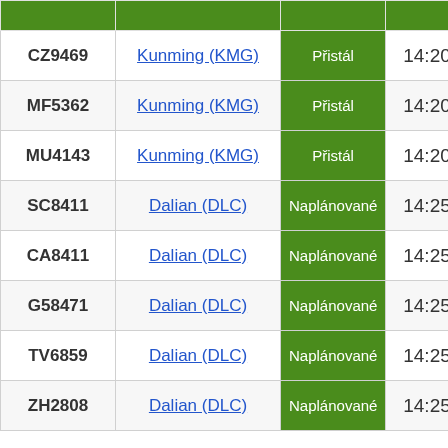|  |  |  |  |
| --- | --- | --- | --- |
| CZ9469 | Kunming (KMG) | Přistál | 14:20 |
| MF5362 | Kunming (KMG) | Přistál | 14:20 |
| MU4143 | Kunming (KMG) | Přistál | 14:20 |
| SC8411 | Dalian (DLC) | Naplánované | 14:25 |
| CA8411 | Dalian (DLC) | Naplánované | 14:25 |
| G58471 | Dalian (DLC) | Naplánované | 14:25 |
| TV6859 | Dalian (DLC) | Naplánované | 14:25 |
| ZH2808 | Dalian (DLC) | Naplánované | 14:25 |